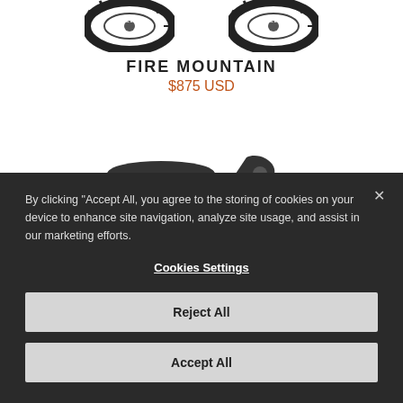[Figure (photo): Two bicycle tires (Trail Boss) shown side by side at the top of the page]
FIRE MOUNTAIN
$875 USD
[Figure (photo): Partial view of bicycle saddle and component in middle section]
By clicking "Accept All, you agree to the storing of cookies on your device to enhance site navigation, analyze site usage, and assist in our marketing efforts.
Cookies Settings
Reject All
Accept All